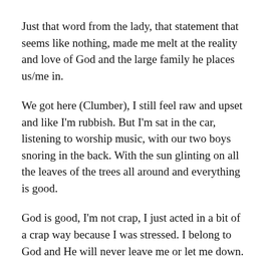Just that word from the lady, that statement that seems like nothing, made me melt at the reality and love of God and the large family he places us/me in.
We got here (Clumber), I still feel raw and upset and like I'm rubbish. But I'm sat in the car, listening to worship music, with our two boys snoring in the back. With the sun glinting on all the leaves of the trees all around and everything is good.
God is good, I'm not crap, I just acted in a bit of a crap way because I was stressed. I belong to God and He will never leave me or let me down.
I am Gods.
Thank you God that your mercies extend to me, that you pick me back up and dust me off, that you love